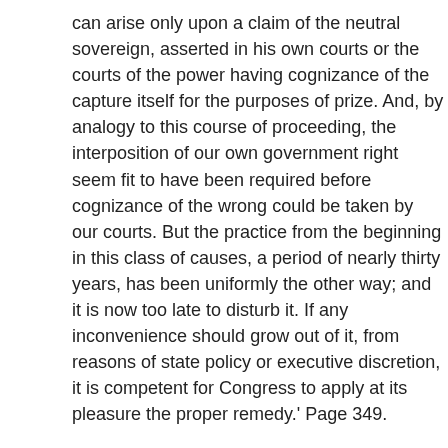can arise only upon a claim of the neutral sovereign, asserted in his own courts or the courts of the power having cognizance of the capture itself for the purposes of prize. And, by analogy to this course of proceeding, the interposition of our own government right seem fit to have been required before cognizance of the wrong could be taken by our courts. But the practice from the beginning in this class of causes, a period of nearly thirty years, has been uniformly the other way; and it is now too late to disturb it. If any inconvenience should grow out of it, from reasons of state policy or executive discretion, it is competent for Congress to apply at its pleasure the proper remedy.' Page 349.
'Whatever may be the exemption of the public ship herself, and of her armament and munitions of war, the prize property which she brings into our ports is liable to the jurisdiction of our courts, for the purpose of